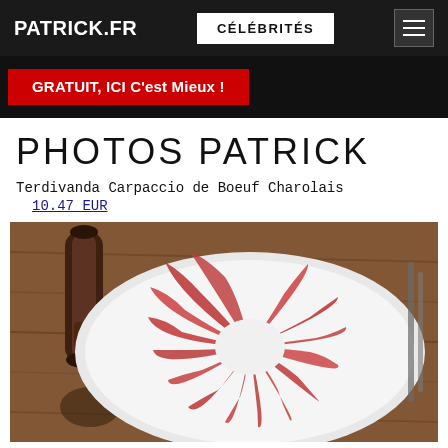PATRICK.FR | CÉLÉBRITÉS | ☰
[Figure (screenshot): Banner advertisement with red button: GRATUIT, ICI C'est Mieux !]
PHOTOS PATRICK
Terdivanda Carpaccio de Boeuf Charolais
10.47 EUR
[Figure (photo): Photo of carpaccio de boeuf charolais — thinly sliced raw beef arranged in a fan pattern on a white plate, with a wooden pepper mill and a wooden cutting board in the background.]